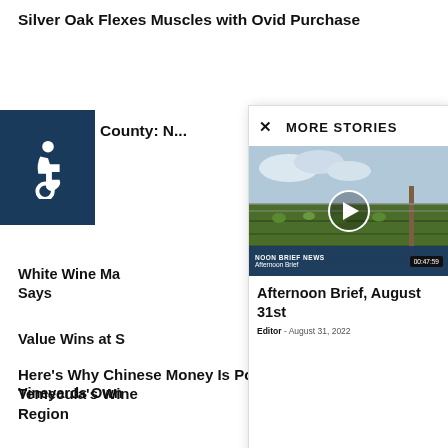Silver Oak Flexes Muscles with Ovid Purchase
County: ...
[Figure (illustration): Accessibility icon (wheelchair symbol) on dark blue background]
White Wine Ma... Says
Value Wins at S...
Vineyards Own...
The Precision ...
Branding a Wi... Benefits the C...
MORE STORIES
[Figure (screenshot): Video thumbnail of a vineyard scene with play button overlay. Video bar shows 'NOON BRIEF NEWS' and 'Afternoon Brief' with timestamp 00:47:59]
Afternoon Brief, August 31st
Editor - August 31, 2022
Here's Why Chinese Money Is Pouring into Temecula's Wine Region